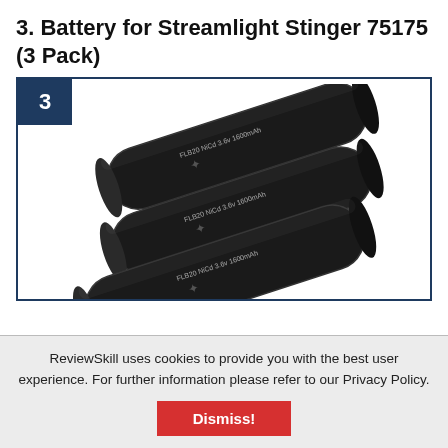3. Battery for Streamlight Stinger 75175 (3 Pack)
[Figure (photo): Three black cylindrical batteries labeled FLB20 NiCd 3.6v 1600mAh, stacked diagonally with a white brand logo on each, inside a bordered frame with a rank badge numbered 3]
ReviewSkill uses cookies to provide you with the best user experience. For further information please refer to our Privacy Policy.
Dismiss!